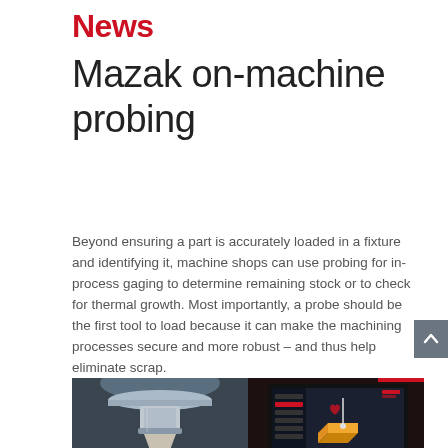News
Mazak on-machine probing
Beyond ensuring a part is accurately loaded in a fixture and identifying it, machine shops can use probing for in-process gaging to determine remaining stock or to check for thermal growth. Most importantly, a probe should be the first tool to load because it can make the machining processes secure and more robust – and thus help eliminate scrap.
[Figure (photo): Split image showing a CNC machine probe tool on the left (close-up of metallic probe spindle) and a Mazak CNC controller touchscreen on the right displaying a probing setup graphic.]